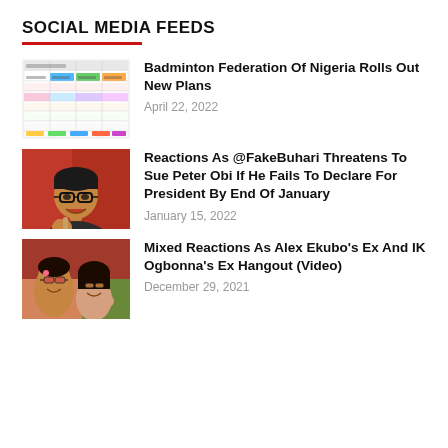SOCIAL MEDIA FEEDS
[Figure (screenshot): Screenshot of a colorful data table/spreadsheet with multiple columns and rows]
Badminton Federation Of Nigeria Rolls Out New Plans
April 22, 2022
[Figure (photo): Man wearing glasses gesturing while speaking, against red background]
Reactions As @FakeBuhari Threatens To Sue Peter Obi If He Fails To Declare For President By End Of January
January 15, 2022
[Figure (photo): Two women smiling, taking a selfie outdoors]
Mixed Reactions As Alex Ekubo's Ex And IK Ogbonna's Ex Hangout (Video)
December 29, 2021